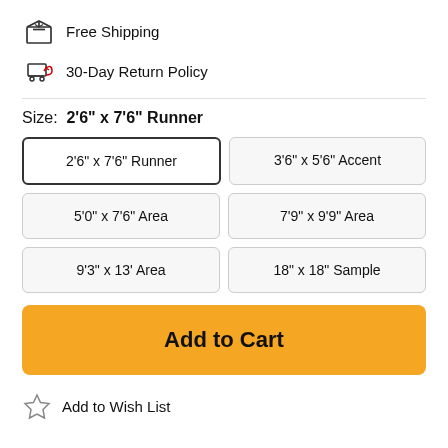Free Shipping
30-Day Return Policy
Size: 2'6" x 7'6" Runner
2'6" x 7'6" Runner | 3'6" x 5'6" Accent | 5'0" x 7'6" Area | 7'9" x 9'9" Area | 9'3" x 13' Area | 18" x 18" Sample
Add to Cart
Add to Wish List